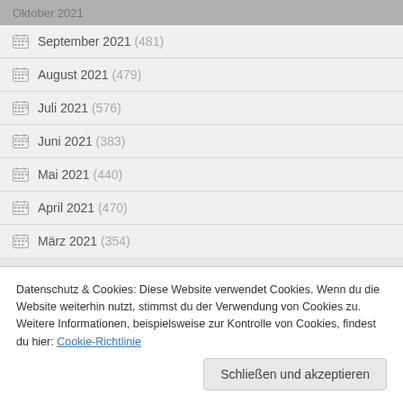Oktober 2021
September 2021 (481)
August 2021 (479)
Juli 2021 (576)
Juni 2021 (383)
Mai 2021 (440)
April 2021 (470)
März 2021 (354)
Datenschutz & Cookies: Diese Website verwendet Cookies. Wenn du die Website weiterhin nutzt, stimmst du der Verwendung von Cookies zu. Weitere Informationen, beispielsweise zur Kontrolle von Cookies, findest du hier: Cookie-Richtlinie